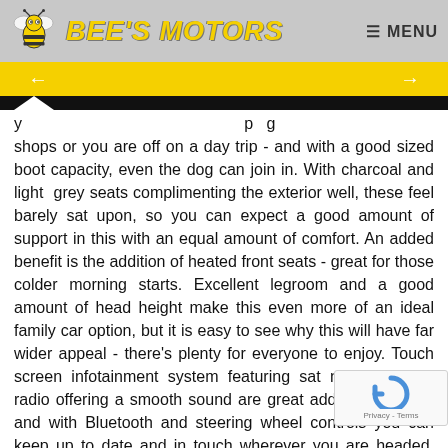BEE'S MOTORS   ≡ MENU
[Figure (other): Yellow navigation bar with left and right arrow buttons]
shops or you are off on a day trip - and with a good sized boot capacity, even the dog can join in. With charcoal and light grey seats complimenting the exterior well, these feel barely sat upon, so you can expect a good amount of support in this with an equal amount of comfort. An added benefit is the addition of heated front seats - great for those colder morning starts. Excellent legroom and a good amount of head height make this even more of an ideal family car option, but it is easy to see why this will have far wider appeal - there's plenty for everyone to enjoy. Touch screen infotainment system featuring sat nav and DAB radio offering a smooth sound are great additions to have and with Bluetooth and steering wheel controls you can keep up to date and in touch wherever you are headed. There's air conditioning and electric windows and mirrors as well as tinted windows all there to add to the comfort when driving, with cruise control also featuring in this, it really is a car worth a look. A great sized family car for in town or out on the